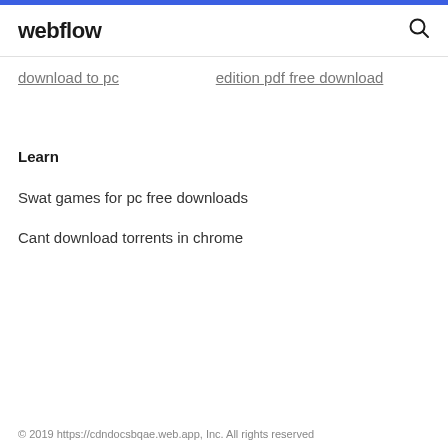webflow
download to pc
edition pdf free download
Learn
Swat games for pc free downloads
Cant download torrents in chrome
© 2019 https://cdndocsbqae.web.app, Inc. All rights reserved